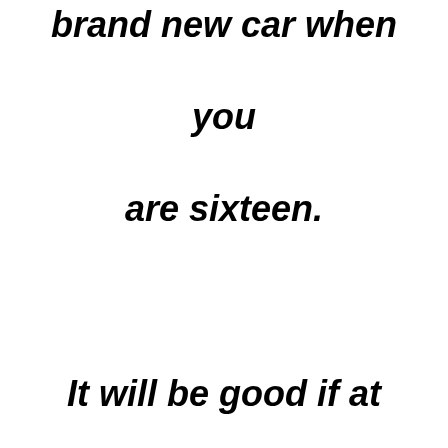brand new car when you are sixteen. It will be good if at least one time you can see puppies born and your old